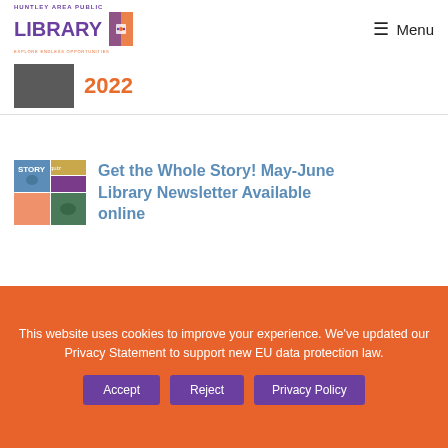HUNTLEY AREA PUBLIC LIBRARY — Menu
2022
Get the Whole Story! May-June Library Newsletter Available online
About HAPL
This website uses cookies to improve your experience. We've updated our Privacy Statement to support new EU data protection law. Accept  Reject  Privacy Policy